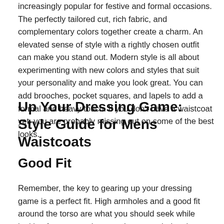increasingly popular for festive and formal occasions. The perfectly tailored cut, rich fabric, and complementary colors together create a charm. An elevated sense of style with a rightly chosen outfit can make you stand out. Modern style is all about experimenting with new colors and styles that suit your personality and make you look great. You can add brooches, pocket squares, and lapels to add a formal and heavy touch. If you don't have a waistcoat yet, you are probably missing out on some of the best looks.
Up Your Dressing Game: Style Guide for Mens Waistcoats
Good Fit
Remember, the key to gearing up your dressing game is a perfect fit. High armholes and a good fit around the torso are what you should seek while looking for mens waistcoats. Large armholes do not restrict your movement and make you feel comfortable. Even if you are wearing the most stunning piece but it does not fit you properly,